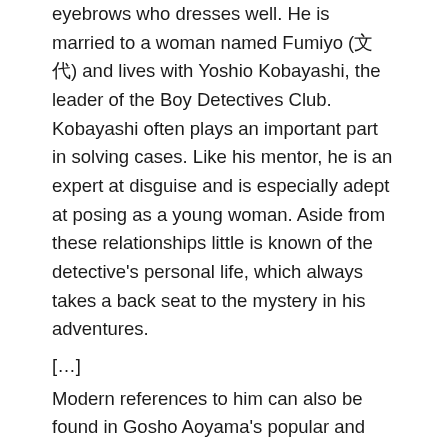eyebrows who dresses well. He is married to a woman named Fumiyo (文代) and lives with Yoshio Kobayashi, the leader of the Boy Detectives Club. Kobayashi often plays an important part in solving cases. Like his mentor, he is an expert at disguise and is especially adept at posing as a young woman. Aside from these relationships little is known of the detective's personal life, which always takes a back seat to the mystery in his adventures.
[…]
Modern references to him can also be found in Gosho Aoyama's popular and long-running manga series, Detective Conan. One of the characters, Detective Kogoro Mori is a persistent and courageous yet highly flawed and lecherous private detective — almost a parody of Kogoro Akechi. He has his cases solved for him by the youthful main character, Conan Edogawa.